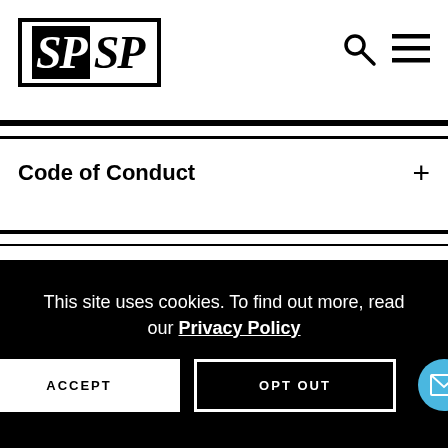[Figure (logo): SPSP logo with black background SP and white background SP inside a bordered box]
Code of Conduct
Travel and Registration Awards
This site uses cookies. To find out more, read our Privacy Policy
ACCEPT
OPT OUT